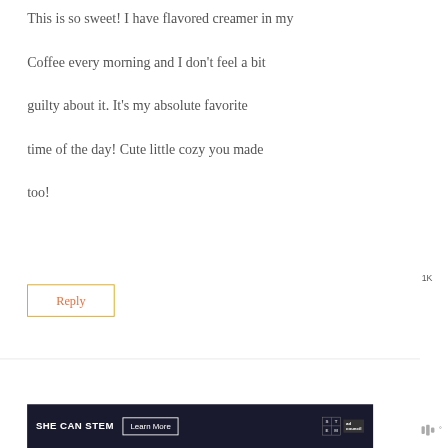This is so sweet! I have flavored creamer in my Coffee every morning and I don't feel a bit guilty about it. It's my absolute favorite time of the day! Cute little cozy you made too!
Reply
[Figure (illustration): Heart/like button (purple circle with heart icon) with count 1K, and a share button (circle with share icon)]
[Figure (infographic): SHE CAN STEM ad banner with Learn More button, STEM grid logo, and Ad Council logo]